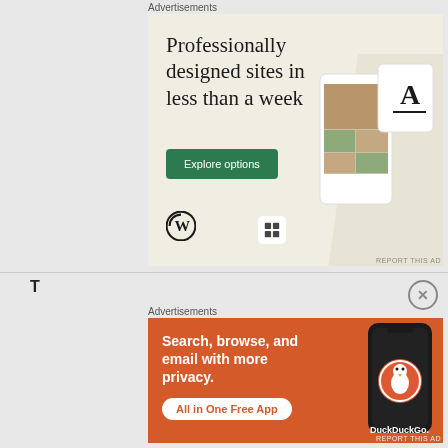Advertisements
[Figure (illustration): WordPress advertisement: 'Professionally designed sites in less than a week' with green 'Explore options' button, WordPress logo, and mock website screenshots on a cream background]
Advertisements
[Figure (illustration): DuckDuckGo advertisement: 'Search, browse, and email with more privacy. All in One Free App' with DuckDuckGo logo and phone mockup on orange background]